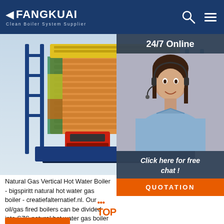FANGKUAI Clean Boiler System Supplier
[Figure (photo): 3D render of an industrial boiler system showing tube bundle, red combustion chamber, and blue frame structure]
[Figure (photo): Customer service representative with headset smiling, with '24/7 Online' header and 'Click here for free chat!' call-to-action panel and orange QUOTATION button]
Natural Gas Vertical Hot Water Boiler - bigspiritt natural hot water gas boiler - creatiefalternatief.nl. Our oil/gas fired boilers can be divided into SZS natural hot water gas boiler and WNS natural hot water gas boiler depending on the medium inside the tubes. With multiple pressure designs the water tube boilers can meet the steam supply requirements of 2.5MPa or above. Get a Quote